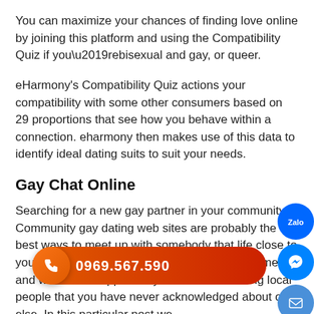You can maximize your chances of finding love online by joining this platform and using the Compatibility Quiz if you’rebisexual and gay, or queer.
eHarmony’s Compatibility Quiz actions your compatibility with some other consumers based on 29 proportions that see how you behave within a connection. eharmony then makes use of this data to identify ideal dating suits to suit your needs.
Gay Chat Online
Searching for a new gay partner in your community? Community gay dating web sites are probably the best ways to meet up with somebody that life close to you. Nearby gay dating internet sites offer you men and women the opportunity as well as reaching local people that you have never acknowledged about or else. In this particular post we